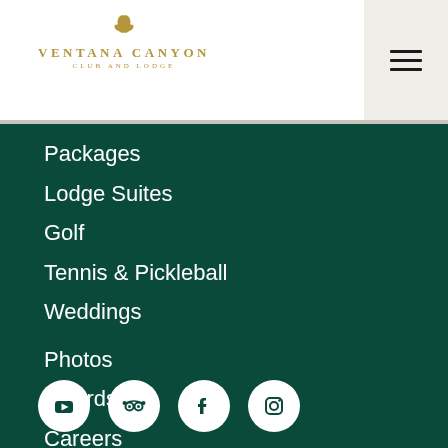[Figure (logo): Ventana Canyon Club and Lodge logo with golden bird/leaf icon above the text]
Packages
Lodge Suites
Golf
Tennis & Pickleball
Weddings
Photos
Awards
Careers
Health & Safety Information
Contact
[Figure (illustration): Social media icons row: YouTube, TripAdvisor, Facebook, Instagram — white circles on dark green background]